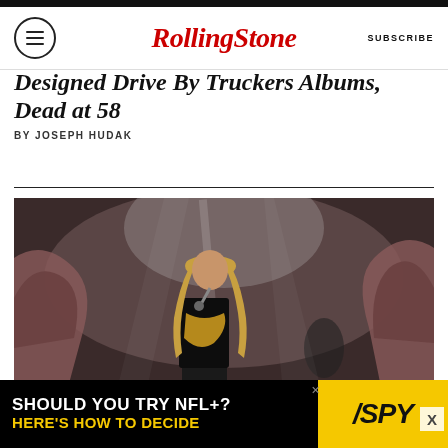Rolling Stone | SUBSCRIBE
Designed Drive By Truckers Albums, Dead at 58
BY JOSEPH HUDAK
[Figure (photo): A performer with long blonde hair singing into a microphone on stage, wearing a black jacket and patterned scarf, with dramatic rock-formation background lighting]
[Figure (other): Advertisement: SHOULD YOU TRY NFL+? HERE'S HOW TO DECIDE - SPY logo]